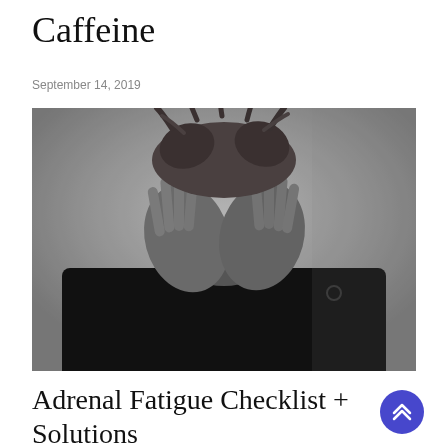Caffeine
September 14, 2019
[Figure (photo): Black and white photograph of a person with disheveled hair holding their head in their hands, wearing a dark hoodie, suggesting stress or fatigue]
Adrenal Fatigue Checklist + Solutions